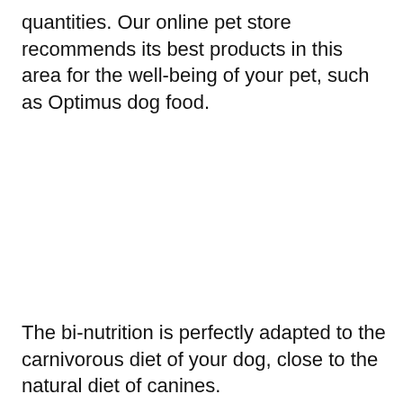quantities. Our online pet store recommends its best products in this area for the well-being of your pet, such as Optimus dog food.
The bi-nutrition is perfectly adapted to the carnivorous diet of your dog, close to the natural diet of canines.